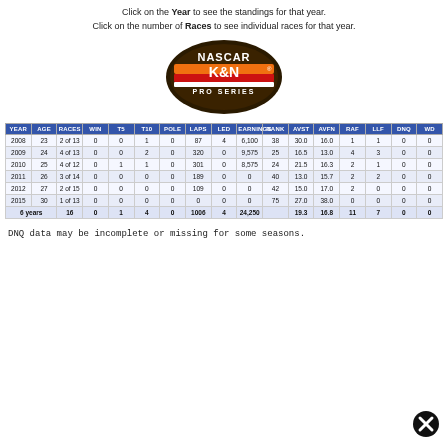Click on the Year to see the standings for that year. Click on the number of Races to see individual races for that year.
[Figure (logo): NASCAR K&N Pro Series logo]
| YEAR | AGE | RACES | WIN | T5 | T10 | POLE | LAPS | LED | EARNINGS | RANK | AVST | AVFN | RAF | LLF | DNQ | WD |
| --- | --- | --- | --- | --- | --- | --- | --- | --- | --- | --- | --- | --- | --- | --- | --- | --- |
| 2008 | 23 | 2 of 13 | 0 | 0 | 1 | 0 | 87 | 4 | 6,100 | 38 | 30.0 | 16.0 | 1 | 1 | 0 | 0 |
| 2009 | 24 | 4 of 13 | 0 | 0 | 2 | 0 | 320 | 0 | 9,575 | 25 | 16.5 | 13.0 | 4 | 3 | 0 | 0 |
| 2010 | 25 | 4 of 12 | 0 | 1 | 1 | 0 | 301 | 0 | 8,575 | 24 | 21.5 | 16.3 | 2 | 1 | 0 | 0 |
| 2011 | 26 | 3 of 14 | 0 | 0 | 0 | 0 | 189 | 0 | 0 | 40 | 13.0 | 15.7 | 2 | 2 | 0 | 0 |
| 2012 | 27 | 2 of 15 | 0 | 0 | 0 | 0 | 109 | 0 | 0 | 42 | 15.0 | 17.0 | 2 | 0 | 0 | 0 |
| 2015 | 30 | 1 of 13 | 0 | 0 | 0 | 0 | 0 | 0 | 0 | 75 | 27.0 | 38.0 | 0 | 0 | 0 | 0 |
DNQ data may be incomplete or missing for some seasons.